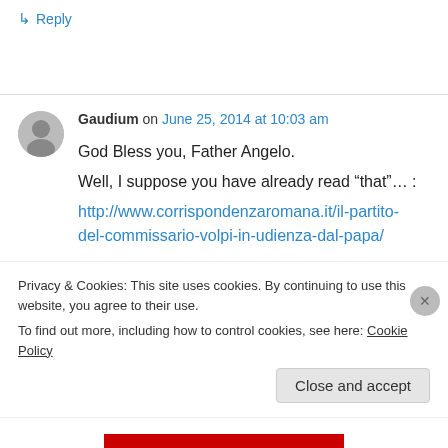↳ Reply
Gaudium on June 25, 2014 at 10:03 am
God Bless you, Father Angelo.
Well, I suppose you have already read "that"… :
http://www.corrispondenzaromana.it/il-partito-del-commissario-volpi-in-udienza-dal-papa/
Privacy & Cookies: This site uses cookies. By continuing to use this website, you agree to their use.
To find out more, including how to control cookies, see here: Cookie Policy